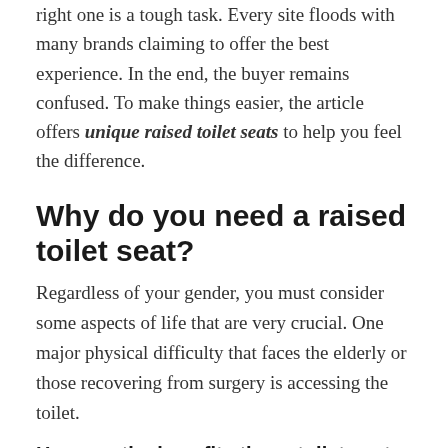right one is a tough task. Every site floods with many brands claiming to offer the best experience. In the end, the buyer remains confused. To make things easier, the article offers unique raised toilet seats to help you feel the difference.
Why do you need a raised toilet seat?
Regardless of your gender, you must consider some aspects of life that are very crucial. One major physical difficulty that faces the elderly or those recovering from surgery is accessing the toilet.
Here are the benefits these toilet seats